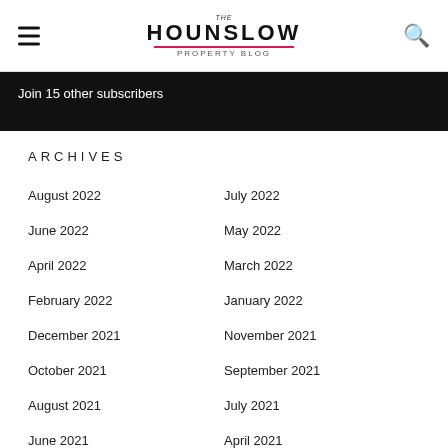The Hounslow Property Blog
Join 15 other subscribers
ARCHIVES
August 2022
July 2022
June 2022
May 2022
April 2022
March 2022
February 2022
January 2022
December 2021
November 2021
October 2021
September 2021
August 2021
July 2021
June 2021
April 2021